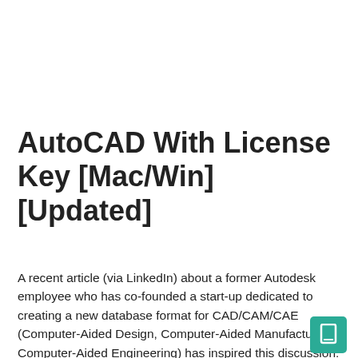AutoCAD With License Key [Mac/Win] [Updated]
A recent article (via LinkedIn) about a former Autodesk employee who has co-founded a start-up dedicated to creating a new database format for CAD/CAM/CAE (Computer-Aided Design, Computer-Aided Manufacturing, Computer-Aided Engineering) has inspired this discussion. The conversation between Pervasive Queries (PQ) creator Steve Myers and former Autodesk employee and PQ founder Kevin Rudd about why there is not more competition and innovation in CAD